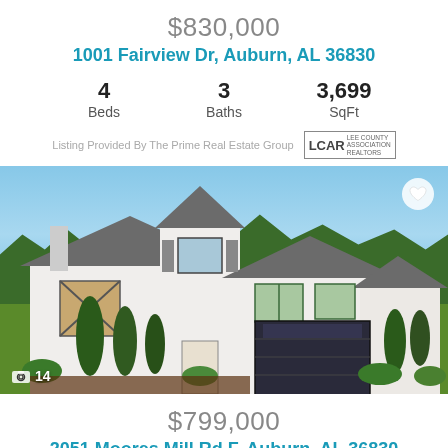$830,000
1001 Fairview Dr, Auburn, AL 36830
| Beds | Baths | SqFt |
| --- | --- | --- |
| 4 | 3 | 3,699 |
Listing Provided By The Prime Real Estate Group  LCAR LEE COUNTY REALTOR
[Figure (photo): Exterior photo of a modern white farmhouse-style home with gray roof, black-framed windows, manicured landscaping including tall cypress trees and green shrubs, and a modern garage door. Blue sky with light clouds in background.]
$799,000
2051 Moores Mill Rd F, Auburn, AL 36830